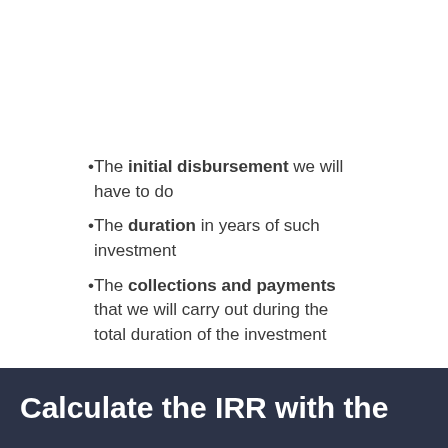The initial disbursement we will have to do
The duration in years of such investment
The collections and payments that we will carry out during the total duration of the investment
Write all these data in each corresponding field of our tool and at every change the IRR percentage will be updated as the associated with the investment.
Calculate the IRR with the